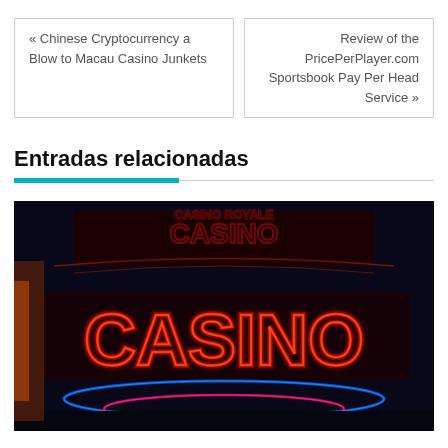« Chinese Cryptocurrency a Blow to Macau Casino Junkets
Review of the PricePerPlayer.com Sportsbook Pay Per Head Service »
Entradas relacionadas
[Figure (photo): Neon casino sign glowing in red with the word CASINO in large neon letters, with blue and pink neon light accents below, set against a dark background with additional neon signs visible above.]